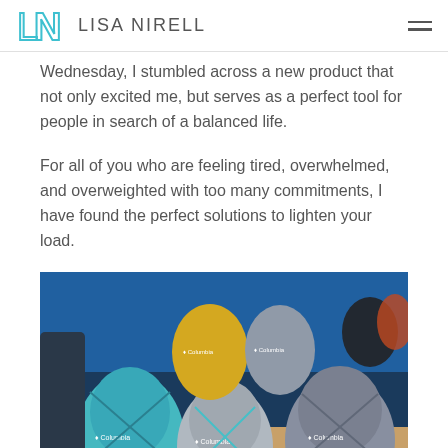Lisa Nirell
Wednesday, I stumbled across a new product that not only excited me, but serves as a perfect tool for people in search of a balanced life.
For all of you who are feeling tired, overwhelmed, and overweighted with too many commitments, I have found the perfect solutions to lighten your load.
[Figure (photo): Multiple Columbia brand backpacks displayed in a store, various colors including teal, gray, and yellow, against a blue background with other gear visible.]